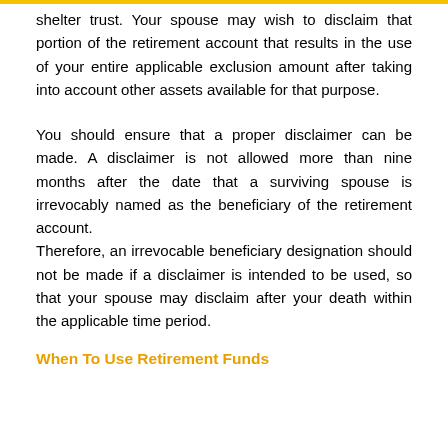shelter trust. Your spouse may wish to disclaim that portion of the retirement account that results in the use of your entire applicable exclusion amount after taking into account other assets available for that purpose.
You should ensure that a proper disclaimer can be made. A disclaimer is not allowed more than nine months after the date that a surviving spouse is irrevocably named as the beneficiary of the retirement account.
Therefore, an irrevocable beneficiary designation should not be made if a disclaimer is intended to be used, so that your spouse may disclaim after your death within the applicable time period.
When To Use Retirement Funds